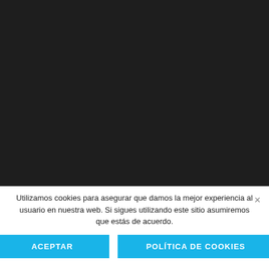[Figure (other): Dark background area (screenshot/webpage background)]
Utilizamos cookies para asegurar que damos la mejor experiencia al usuario en nuestra web. Si sigues utilizando este sitio asumiremos que estás de acuerdo.
×
ACEPTAR
POLÍTICA DE COOKIES